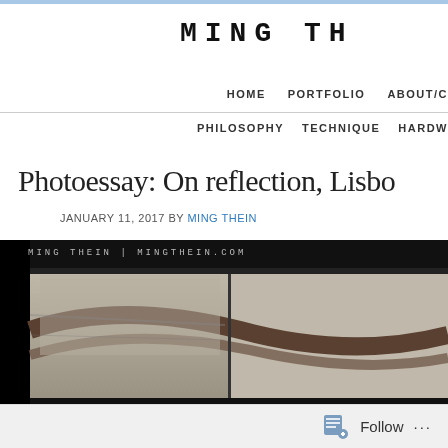MING TH
HOME   PORTFOLIO   ABOUT/C
PHILOSOPHY   TECHNIQUE   HARDW
Photoessay: On reflection, Lisbo
JANUARY 11, 2017 BY MING THEIN
[Figure (photo): Architecture photo showing curved concrete arches/beams, black and white, with watermark MING THEIN | MINGTHEIN.COM]
Follow ...